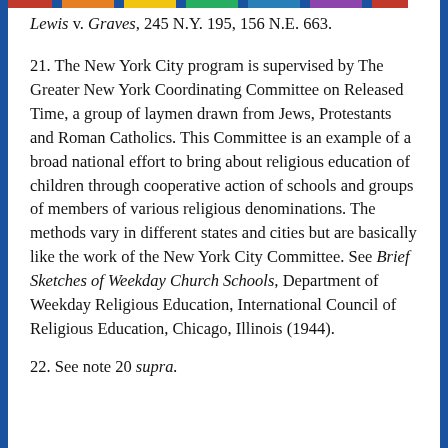Lewis v. Graves, 245 N.Y. 195, 156 N.E. 663.
21. The New York City program is supervised by The Greater New York Coordinating Committee on Released Time, a group of laymen drawn from Jews, Protestants and Roman Catholics. This Committee is an example of a broad national effort to bring about religious education of children through cooperative action of schools and groups of members of various religious denominations. The methods vary in different states and cities but are basically like the work of the New York City Committee. See Brief Sketches of Weekday Church Schools, Department of Weekday Religious Education, International Council of Religious Education, Chicago, Illinois (1944).
22. See note 20 supra.